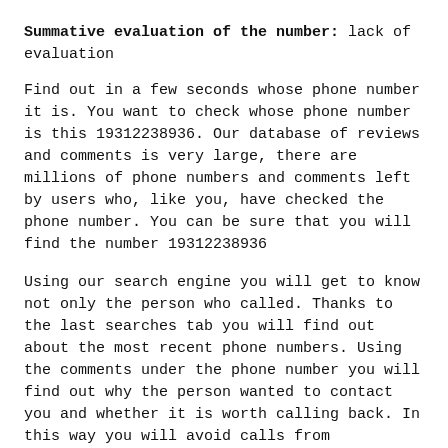Summative evaluation of the number: lack of evaluation
Find out in a few seconds whose phone number it is. You want to check whose phone number is this 19312238936. Our database of reviews and comments is very large, there are millions of phone numbers and comments left by users who, like you, have checked the phone number. You can be sure that you will find the number 19312238936
Using our search engine you will get to know not only the person who called. Thanks to the last searches tab you will find out about the most recent phone numbers. Using the comments under the phone number you will find out why the person wanted to contact you and whether it is worth calling back. In this way you will avoid calls from telemarketers and swindlers, you will find out whether it is worth resigning from receiving calls from the number 19312238936
If the number 19312238936, If you don't have any comments or ratings, it can mean that it's probably safe or no user has added it as a harassing call yet. Of course, there is no 100% certainty that